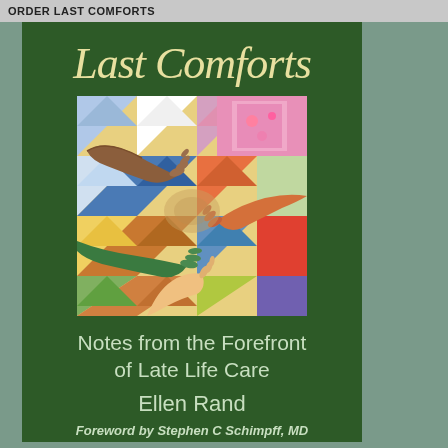ORDER LAST COMFORTS
[Figure (illustration): Book cover for 'Last Comforts: Notes from the Forefront of Late Life Care' by Ellen Rand, with foreword by Stephen C Schimpff, MD. Dark green cover with calligraphic title and a colorful quilt artwork featuring interlocking hands of diverse skin tones.]
Last Comforts
Notes from the Forefront of Late Life Care
Ellen Rand
Foreword by Stephen C Schimpff, MD